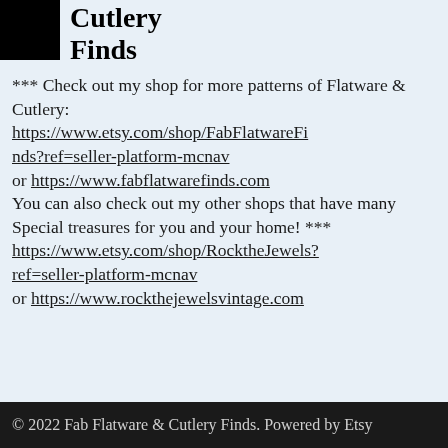Cutlery Finds
*** Check out my shop for more patterns of Flatware & Cutlery: https://www.etsy.com/shop/FabFlatwareFinds?ref=seller-platform-mcnav or https://www.fabflatwarefinds.com You can also check out my other shops that have many Special treasures for you and your home! *** https://www.etsy.com/shop/RocktheJewels?ref=seller-platform-mcnav or https://www.rockthejewelsvintage.com
© 2022 Fab Flatware & Cutlery Finds. Powered by Etsy